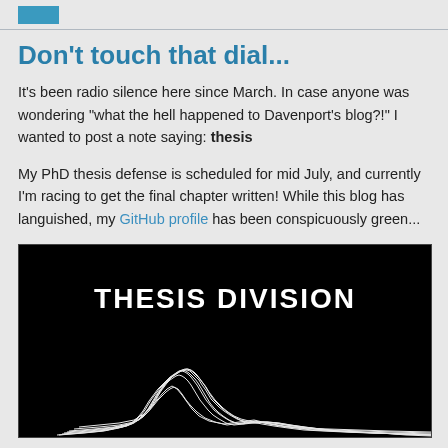[navigation button]
Don't touch that dial...
It's been radio silence here since March. In case anyone was wondering "what the hell happened to Davenport's blog?!" I wanted to post a note saying: thesis
My PhD thesis defense is scheduled for mid July, and currently I'm racing to get the final chapter written! While this blog has languished, my GitHub profile has been conspicuously green...
[Figure (illustration): Black background image with white text 'THESIS DIVISION' at top and white wavy lines forming a landscape/mountain shape below, reminiscent of Joy Division's Unknown Pleasures album cover]